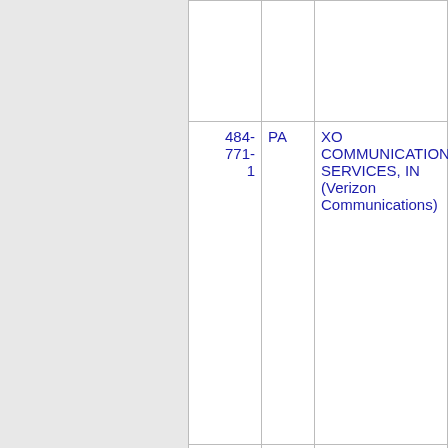| Number | State | Name | Code |
| --- | --- | --- | --- |
|  |  |  |  |
| 484-771-1 | PA | XO COMMUNICATIONS SERVICES, IN (Verizon Communications) | 7 |
| 484-771-2 | PA | ONVOY SPECTRUM, LLC (Inteliquent) | 6 |